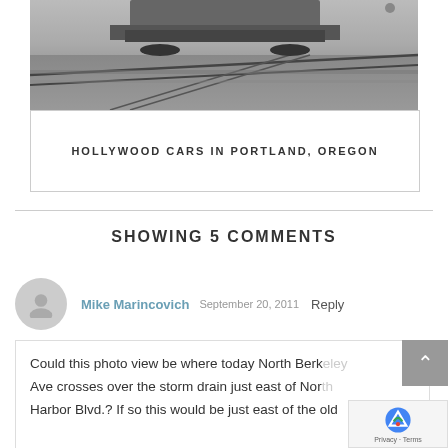[Figure (photo): Black and white photograph showing what appears to be the underside or tracks of a vehicle/streetcar on rails]
HOLLYWOOD CARS IN PORTLAND, OREGON
SHOWING 5 COMMENTS
Mike Marincovich  September 20, 2011  Reply
Could this photo view be where today North Berkeley Ave crosses over the storm drain just east of North Harbor Blvd.? If so this would be just east of the old